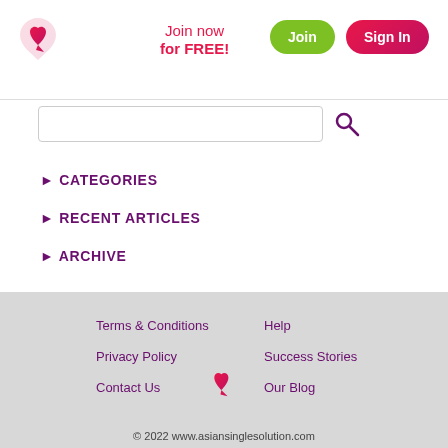[Figure (logo): Asian Single Solution logo - stylized heart/arrow shape in red/pink gradient]
Join now for FREE!
Join
Sign In
[Figure (other): Search bar with magnifying glass icon]
► CATEGORIES
► RECENT ARTICLES
► ARCHIVE
Terms & Conditions  Help  Privacy Policy  Success Stories  Contact Us  Our Blog  © 2022 www.asiansinglesolution.com